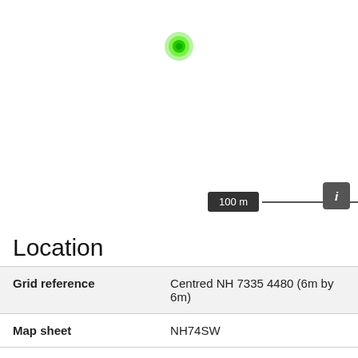[Figure (map): White map background with a single green location dot marker near the top center of the map area. A scale bar showing '100 m' and an info button are visible in the lower right of the map area.]
Location
| Grid reference | Centred NH 7335 4480 (6m by 6m) |
| Map sheet | NH74SW |